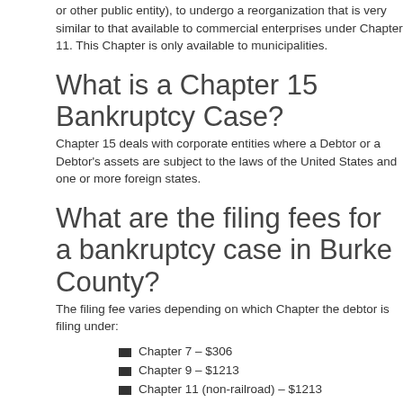or other public entity), to undergo a reorganization that is very similar to that available to commercial enterprises under Chapter 11. This Chapter is only available to municipalities.
What is a Chapter 15 Bankruptcy Case?
Chapter 15 deals with corporate entities where a Debtor or a Debtor's assets are subject to the laws of the United States and one or more foreign states.
What are the filing fees for a bankruptcy case in Burke County?
The filing fee varies depending on which Chapter the debtor is filing under:
Chapter 7 – $306
Chapter 9 – $1213
Chapter 11 (non-railroad) – $1213
Chapter 11 (railroad) – $1046
Chapter 12 – $246
Chapter 13 – $281
Chapter 15 – $1213
Burke County Bankruptcy Court Locations